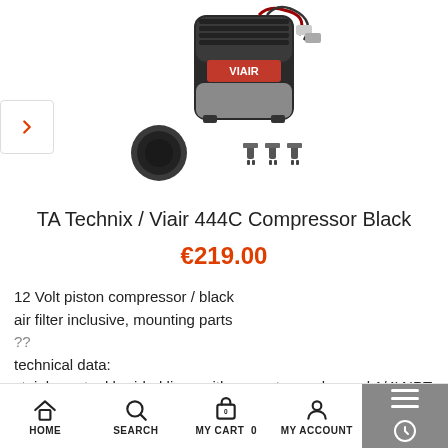[Figure (photo): VIAIR 444C Compressor Black product photo showing the compressor unit, air filter, and mounting hardware accessories]
TA Technix / Viair 444C Compressor Black
€219.00
12 Volt piston compressor / black
air filter inclusive, mounting parts
??
technical data:
stainless steel braided lines with non-return valve and 1/4' NPT with thread
HOME  SEARCH  MY CART 0  MY ACCOUNT  ☰  ⊙